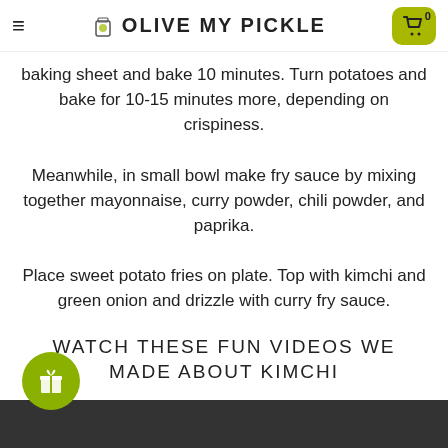OLIVE MY PICKLE
baking sheet and bake 10 minutes. Turn potatoes and bake for 10-15 minutes more, depending on crispiness. Meanwhile, in small bowl make fry sauce by mixing together mayonnaise, curry powder, chili powder, and paprika. Place sweet potato fries on plate. Top with kimchi and green onion and drizzle with curry fry sauce.
WATCH THESE FUN VIDEOS WE MADE ABOUT KIMCHI
[Figure (other): Green gift/reward circle button icon at bottom left, and a dark video thumbnail bar at the very bottom of the page.]